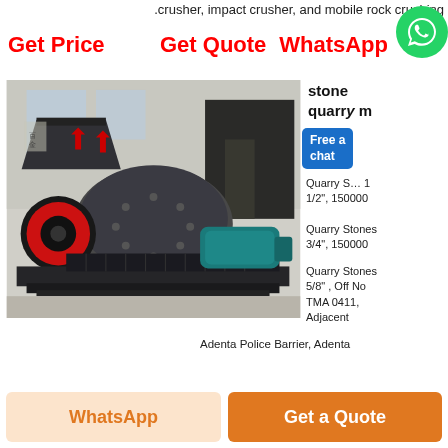.crusher, impact crusher, and mobile rock crushing
Get Price
Get Quote
WhatsApp
[Figure (photo): Industrial hammer mill / stone crusher machine in a factory setting, gray metal body with red accents and blue-green motor, on a metal frame/pallet.]
stone
quarry m
Free a chat
Quarry S… 1/2", 150000
Quarry Stones 3/4", 150000
Quarry Stones 5/8" , Off No TMA 0411, Adjacent
Adenta Police Barrier, Adenta
WhatsApp
Get a Quote